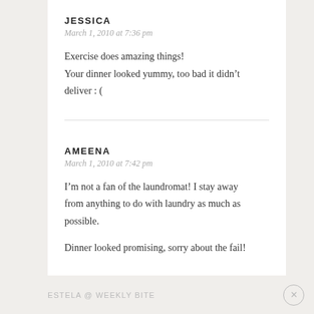JESSICA
March 1, 2010 at 7:36 pm
Exercise does amazing things! Your dinner looked yummy, too bad it didn’t deliver : (
AMEENA
March 1, 2010 at 7:42 pm
I’m not a fan of the laundromat! I stay away from anything to do with laundry as much as possible.

Dinner looked promising, sorry about the fail!
ESTELA @ WEEKLY BITE